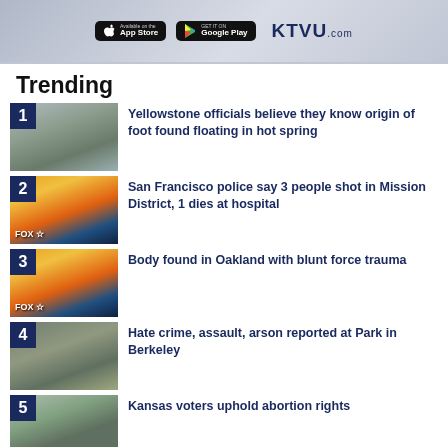[Figure (screenshot): App store banner with App Store and Google Play buttons and KTVU.com logo]
Trending
1 Yellowstone officials believe they know origin of foot found floating in hot spring
2 San Francisco police say 3 people shot in Mission District, 1 dies at hospital
3 Body found in Oakland with blunt force trauma
4 Hate crime, assault, arson reported at Park in Berkeley
5 Kansas voters uphold abortion rights